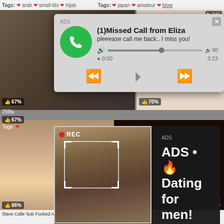Tags: arab small-tits hijab | Tags: japan amateur blow
[Figure (screenshot): Phone call missed call ad popup with green phone icon, title '(1)Missed Call from Eliza', subtitle 'pleeease call me back.. I miss you!', audio progress bar, and playback controls (rewind, play, fast-forward). Background shows adult video thumbnail website.]
[Figure (screenshot): Dark dating advertisement overlay: 'ADS • Dating for men! Find bad girls here' with selfie photo of woman taking mirror photo with REC badge overlay and face detection frame.]
259lu
67%
Tags:
86%
CUNTFIN
78%
Slave Calle Sub Fucked And Gets...
Sex Brunette Baby Gets Fucke...